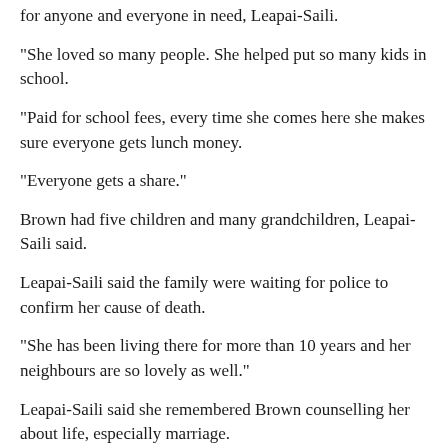for anyone and everyone in need, Leapai-Saili.
"She loved so many people. She helped put so many kids in school.
"Paid for school fees, every time she comes here she makes sure everyone gets lunch money.
"Everyone gets a share."
Brown had five children and many grandchildren, Leapai-Saili said.
Leapai-Saili said the family were waiting for police to confirm her cause of death.
"She has been living there for more than 10 years and her neighbours are so lovely as well."
Leapai-Saili said she remembered Brown counselling her about life, especially marriage.
"So, now I'm married with a son, and I can think of all she has taught me, I can definitely say 'you did a great job Grandma, thank you'.